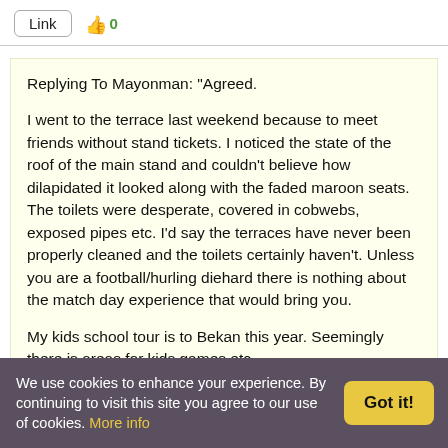Link  👍0
Replying To Mayonman:  "Agreed.

I went to the terrace last weekend because to meet friends without stand tickets. I noticed the state of the roof of the main stand and couldn't believe how dilapidated it looked along with the faded maroon seats. The toilets were desperate, covered in cobwebs, exposed pipes etc. I'd say the terraces have never been properly cleaned and the toilets certainly haven't. Unless you are a football/hurling diehard there is nothing about the match day experience that would bring you.

My kids school tour is to Bekan this year. Seemingly there is areas for kids games etc.
We use cookies to enhance your experience. By continuing to visit this site you agree to our use of cookies. More info
Got it!